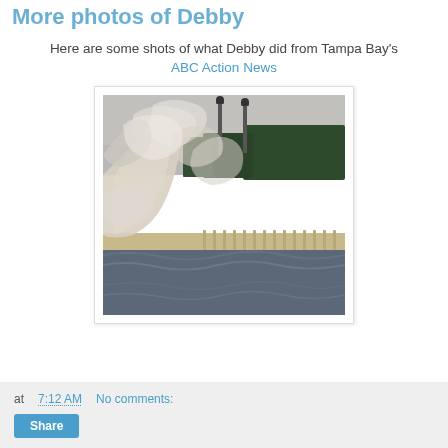More photos of Debby
Here are some shots of what Debby did from Tampa Bay's ABC Action News
[Figure (photo): Large crashing waves over a waterfront sea wall with lamp posts bending in the wind during Tropical Storm Debby, trees visible in background, rough choppy water in foreground.]
at 7:12 AM   No comments:   Share